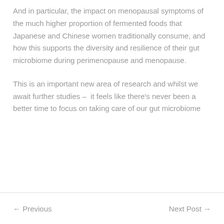And in particular, the impact on menopausal symptoms of the much higher proportion of fermented foods that Japanese and Chinese women traditionally consume, and how this supports the diversity and resilience of their gut microbiome during perimenopause and menopause.
This is an important new area of research and whilst we await further studies – it feels like there's never been a better time to focus on taking care of our gut microbiome
← Previous    Next Post →